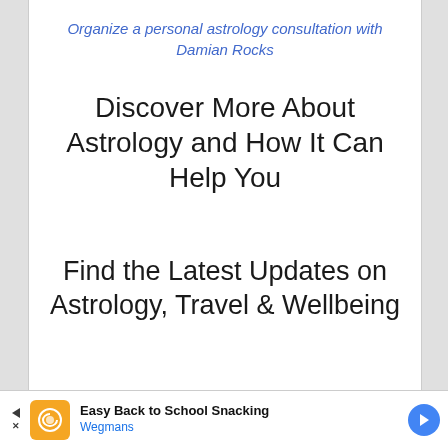Organize a personal astrology consultation with Damian Rocks
Discover More About Astrology and How It Can Help You
Find the Latest Updates on Astrology, Travel & Wellbeing
Easy Back to School Snacking Wegmans